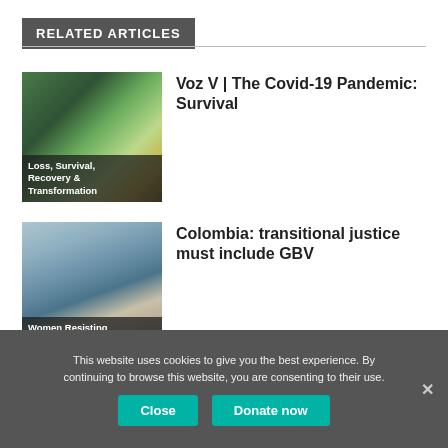RELATED ARTICLES
Voz V | The Covid-19 Pandemic: Survival
Colombia: transitional justice must include GBV
Brazil: orphan mothers
This website uses cookies to give you the best experience. By continuing to browse this website, you are consenting to their use.